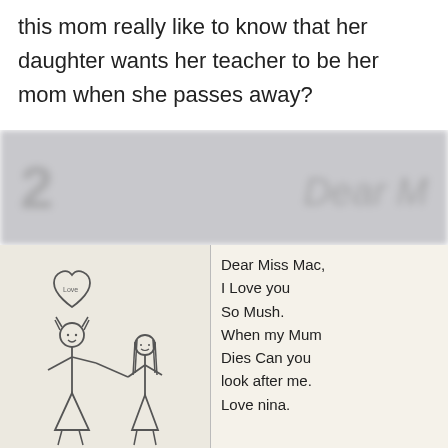this mom really like to know that her daughter wants her teacher to be her mom when she passes away?
[Figure (photo): A child's handwritten letter and drawing. Left side shows a pencil sketch of two figures (a child and an adult) with a heart above them. Right side shows handwritten text: 'Dear Miss Mac, I Love you So Mush. When my Mum Dies Can you look after me. Love nina.']